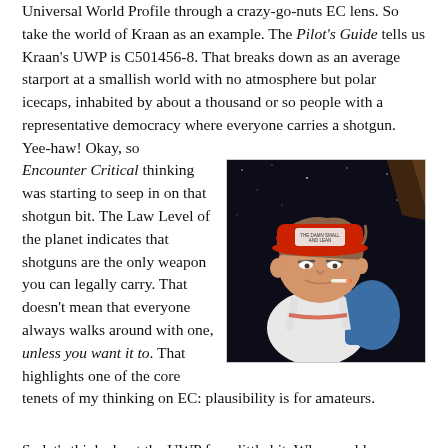Universal World Profile through a crazy-go-nuts EC lens. So take the world of Kraan as an example. The Pilot's Guide tells us Kraan's UWP is C501456-8. That breaks down as an average starport at a smallish world with no atmosphere but polar icecaps, inhabited by about a thousand or so people with a representative democracy where everyone carries a shotgun. Yee-haw! Okay, so Encounter Critical thinking was starting to seep in on that shotgun bit. The Law Level of the planet indicates that shotguns are the only weapon you can legally carry. That doesn't mean that everyone always walks around with one, unless you want it to. That highlights one of the core tenets of my thinking on EC: plausibility is for amateurs.
[Figure (illustration): Animated cartoon character wearing a red baseball cap and white tank top, appearing to be a redneck or hillbilly character, against a dark starry background.]
So let's think about the UWP for a little bit. Why would anyone live on an airless turd of a world like Kraan? In Traveller the default answer is 'economic advantage', which is Marc Miller's secret code phrase for 'to make a buck'.